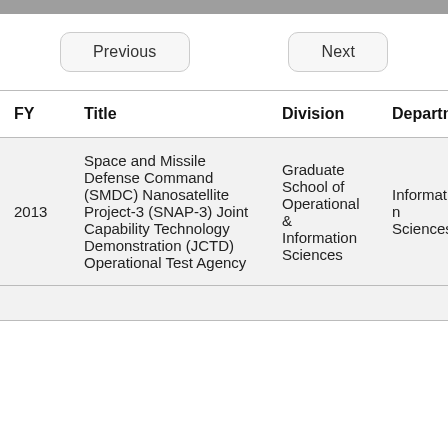| FY | Title | Division | Department |
| --- | --- | --- | --- |
| 2013 | Space and Missile Defense Command (SMDC) Nanosatellite Project-3 (SNAP-3) Joint Capability Technology Demonstration (JCTD) Operational Test Agency | Graduate School of Operational & Information Sciences | Information Sciences |